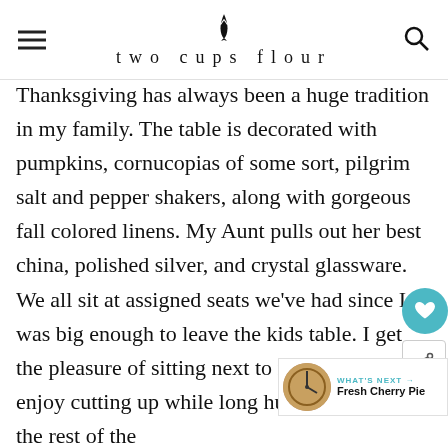two cups flour
Thanksgiving has always been a huge tradition in my family. The table is decorated with pumpkins, cornucopias of some sort, pilgrim salt and pepper shakers, along with gorgeous fall colored linens. My Aunt pulls out her best china, polished silver, and crystal glassware. We all sit at assigned seats we've had since I was big enough to leave the kids table. I get the pleasure of sitting next to my father, as we enjoy cutting up while long humorous tales to the rest of the